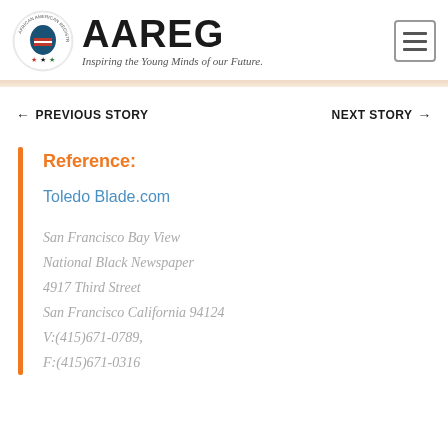AAREG — Inspiring the Young Minds of our Future.
← PREVIOUS STORY    NEXT STORY →
Reference:
Toledo Blade.com
San Francisco Bay View
National Black Newspaper
4917 Third Street
San Francisco California 94124
V:(415)671-0789,
F:(415)671-0316